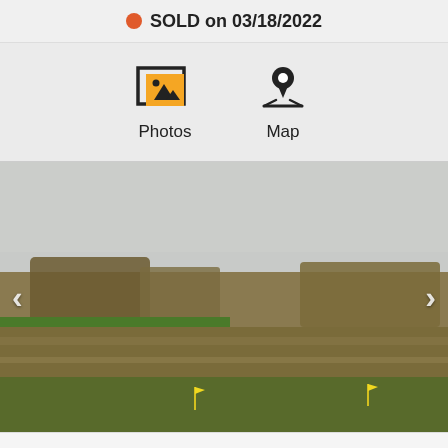SOLD on 03/18/2022
[Figure (infographic): Photos icon (picture frame with image) and Map icon (location pin with map) navigation buttons]
[Figure (photo): Outdoor field/land photograph showing grassy terrain with brush and trees in background under overcast sky, with two small yellow flags visible in foreground]